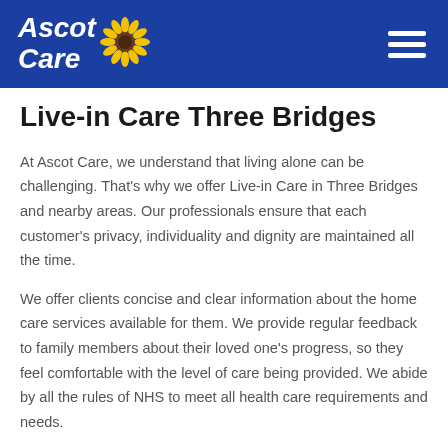Ascot Care
Live-in Care Three Bridges
At Ascot Care, we understand that living alone can be challenging. That's why we offer Live-in Care in Three Bridges and nearby areas. Our professionals ensure that each customer's privacy, individuality and dignity are maintained all the time.
We offer clients concise and clear information about the home care services available for them. We provide regular feedback to family members about their loved one's progress, so they feel comfortable with the level of care being provided. We abide by all the rules of NHS to meet all health care requirements and needs.